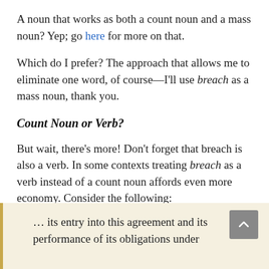A noun that works as both a count noun and a mass noun? Yep; go here for more on that.
Which do I prefer? The approach that allows me to eliminate one word, of course—I'll use breach as a mass noun, thank you.
Count Noun or Verb?
But wait, there's more! Don't forget that breach is also a verb. In some contexts treating breach as a verb instead of a count noun affords even more economy. Consider the following:
… its entry into this agreement and its performance of its obligations under